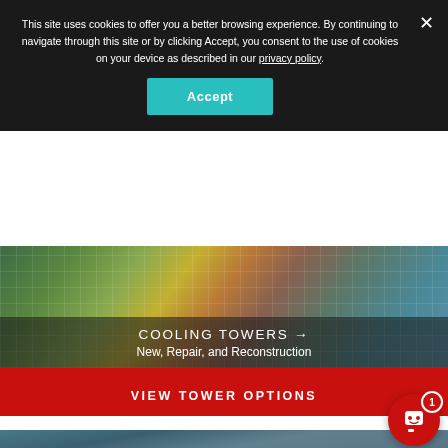This site uses cookies to offer you a better browsing experience. By continuing to navigate through this site or by clicking Accept, you consent to the use of cookies on your device as described in our privacy policy.
Accept
[Figure (photo): Aerial/overhead view of industrial cooling tower structures with green and yellow components, white structural framework, and teal elements]
COOLING TOWERS → New, Repair, and Reconstruction
VIEW TOWER OPTIONS
[Figure (photo): A man wearing safety glasses talking on a phone in an industrial setting with pipes and equipment in the background]